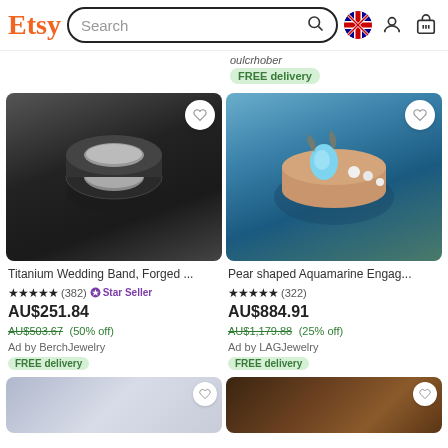Etsy — Search bar header with Australian flag, user icon, cart icon
oulcrhober
FREE delivery
[Figure (photo): Titanium wedding band ring product photo on dark background]
[Figure (photo): Pear shaped aquamarine engagement ring on blue velvet box with rose gold setting]
Titanium Wedding Band, Forged ...
★★★★★ (382) ⭐ Star Seller
AU$251.84
AU$503.67 (50% off)
Ad by BerchJewelry
FREE delivery
Pear shaped Aquamarine Engag...
★★★★★ (322)
AU$884.91
AU$1,179.88 (25% off)
Ad by LAGJewelry
FREE delivery
[Figure (photo): Partial product photo bottom left, light lavender/grey background]
[Figure (photo): Partial product photo bottom right, dark brown background]